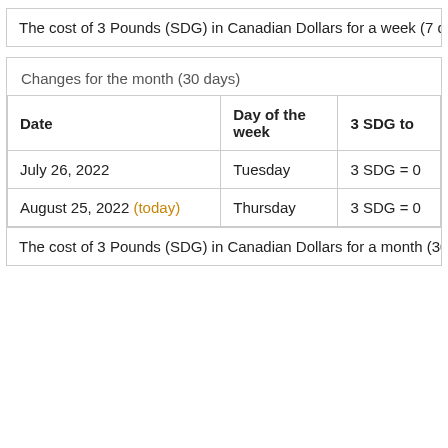The cost of 3 Pounds (SDG) in Canadian Dollars for a week (7 day...
Changes for the month (30 days)
| Date | Day of the week | 3 SDG to |
| --- | --- | --- |
| July 26, 2022 | Tuesday | 3 SDG = 0 |
| August 25, 2022 (today) | Thursday | 3 SDG = 0 |
The cost of 3 Pounds (SDG) in Canadian Dollars for a month (30 d...